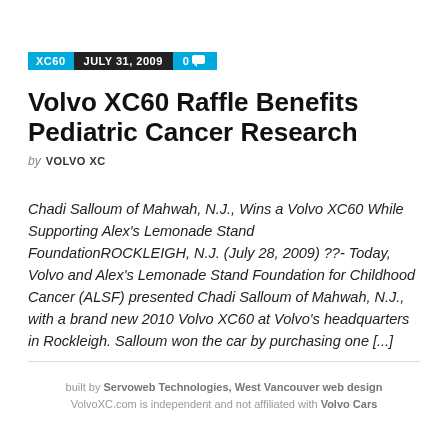XC60  JULY 31, 2009  0
Volvo XC60 Raffle Benefits Pediatric Cancer Research
by VOLVO XC
Chadi Salloum of Mahwah, N.J., Wins a Volvo XC60 While Supporting Alex’s Lemonade Stand FoundationROCKLEIGH, N.J. (July 28, 2009) ??- Today, Volvo and Alex’s Lemonade Stand Foundation for Childhood Cancer (ALSF) presented Chadi Salloum of Mahwah, N.J., with a brand new 2010 Volvo XC60 at Volvo’s headquarters in Rockleigh. Salloum won the car by purchasing one [...]
built by Servoweb Technologies, West Vancouver web design
VolvoXC.com is independent and not affiliated with Volvo Cars